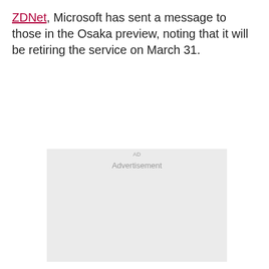ZDNet, Microsoft has sent a message to those in the Osaka preview, noting that it will be retiring the service on March 31.
[Figure (other): Advertisement placeholder box with light gray background and 'Advertisement' label text centered near the top.]